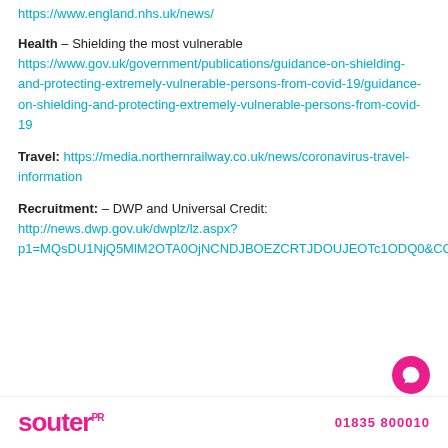https://www.england.nhs.uk/news/
Health – Shielding the most vulnerable https://www.gov.uk/government/publications/guidance-on-shielding-and-protecting-extremely-vulnerable-persons-from-covid-19/guidance-on-shielding-and-protecting-extremely-vulnerable-persons-from-covid-19
Travel: https://media.northernrailway.co.uk/news/coronavirus-travel-information
Recruitment: – DWP and Universal Credit: http://news.dwp.gov.uk/dwplz/lz.aspx?p1=MQsDU1NjQ5MlM2OTA0OjNCNDJBOEZCRTJDOUJEOTc1ODQ0&CC=&p=0
souter PR   01835 800010